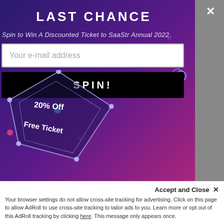LAST CHANCE
Spin to Win A Discounted Ticket to SaaStr Annual 2022
Your e-mail address
SPIN!
[Figure (illustration): Promotional popup with gradient blue-to-pink/purple background showing spinning ticket wheel with '20% Off' and 'Free Ticket' labels, decorative dots and geometric elements]
Accept and Close ✕
Your browser settings do not allow cross-site tracking for advertising. Click on this page to allow AdRoll to use cross-site tracking to tailor ads to you. Learn more or opt out of this AdRoll tracking by clicking here. This message only appears once.